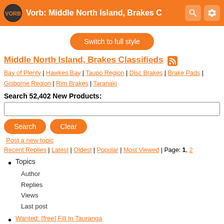Vorb: Middle North Island, Brakes C
Middle North Island, Brakes Classifieds
Bay of Plenty | Hawkes Bay | Taupo Region | Disc Brakes | Brake Pads | Gisborne Region | Rim Brakes | Taranaki
Search 52,402 New Products:
Post a new topic
Recent Replies | Latest | Oldest | Popular | Most Viewed | Page: 1, 2
Topics
Author
Replies
Views
Last post
Wanted: [free] Fill In Tauranga
Posted on Wed 22/Sep/10 5:09pm